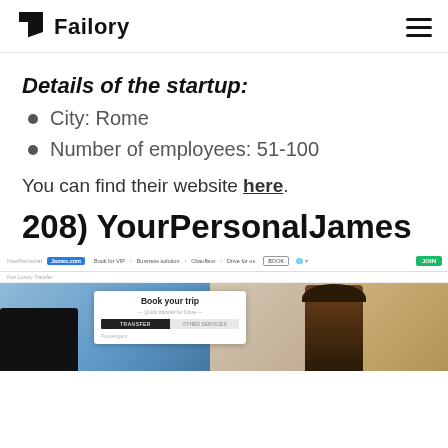Failory
Details of the startup:
City: Rome
Number of employees: 51-100
You can find their website here.
208) YourPersonalJames
[Figure (screenshot): Screenshot of the YourPersonalJames website showing a navigation bar with logo, booking options, and a main hero section with 'Book your trip' card featuring Transfer and Other Services tabs, with a person in a hat and car imagery in the background.]